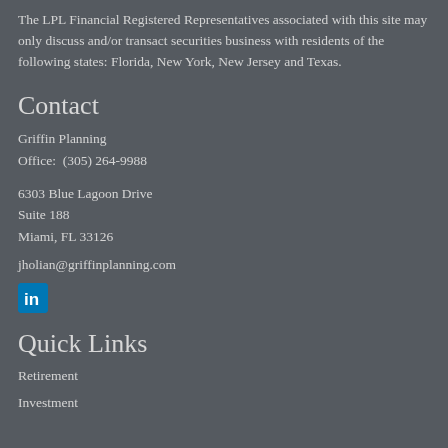The LPL Financial Registered Representatives associated with this site may only discuss and/or transact securities business with residents of the following states: Florida, New York, New Jersey and Texas.
Contact
Griffin Planning
Office:  (305) 264-9988
6303 Blue Lagoon Drive
Suite 188
Miami, FL 33126
jholian@griffinplanning.com
[Figure (logo): LinkedIn icon — blue rounded square with white 'in' logo]
Quick Links
Retirement
Investment